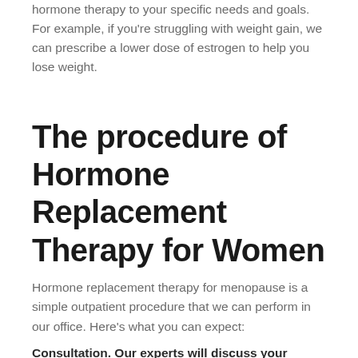hormone therapy to your specific needs and goals. For example, if you're struggling with weight gain, we can prescribe a lower dose of estrogen to help you lose weight.
The procedure of Hormone Replacement Therapy for Women
Hormone replacement therapy for menopause is a simple outpatient procedure that we can perform in our office. Here's what you can expect:
Consultation. Our experts will discuss your